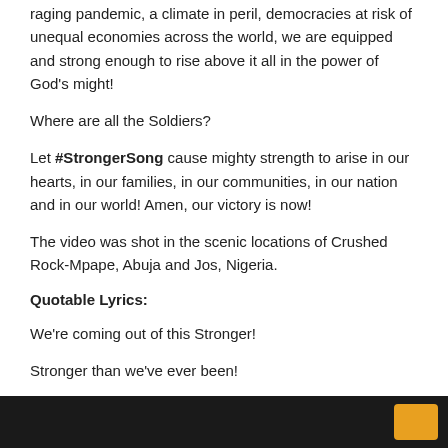raging pandemic, a climate in peril, democracies at risk of unequal economies across the world, we are equipped and strong enough to rise above it all in the power of God's might!
Where are all the Soldiers?
Let #StrongerSong cause mighty strength to arise in our hearts, in our families, in our communities, in our nation and in our world! Amen, our victory is now!
The video was shot in the scenic locations of Crushed Rock-Mpape, Abuja and Jos, Nigeria.
Quotable Lyrics:
We're coming out of this Stronger!
Stronger than we've ever been!
We're coming out of this Stronger!
[Figure (other): Dark bottom bar with orange button element]